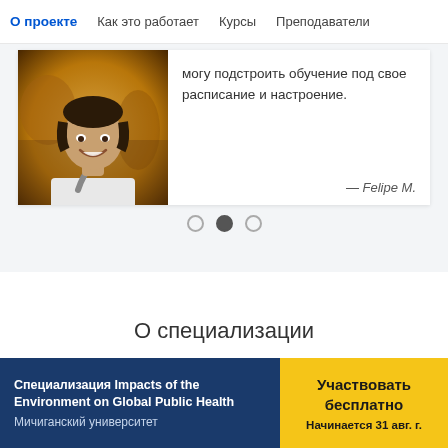О проекте  Как это работает  Курсы  Преподаватели
[Figure (photo): Young man smiling, testimonial photo]
могу подстроить обучение под свое расписание и настроение.
— Felipe M.
О специализации
Специализация Impacts of the Environment on Global Public Health
Мичиганский университет
Участвовать бесплатно
Начинается 31 авг. г.